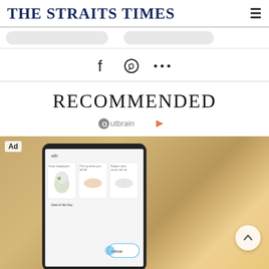THE STRAITS TIMES
[Figure (screenshot): Navigation pill buttons row below header]
[Figure (infographic): Social share icons: Facebook, WhatsApp, and more (…)]
RECOMMENDED
Outbrain
[Figure (photo): Advertisement image showing a hand holding a smartphone with a shopping app open displaying items: a plant in a disco-ball vase, sunglasses, sneakers. Text on phone: 'Keep shopping for', 'Pick up where you left off', 'Explore more across the sto...', 'Deal of the Day', 'Alexa'. Ad badge in top-left corner.]